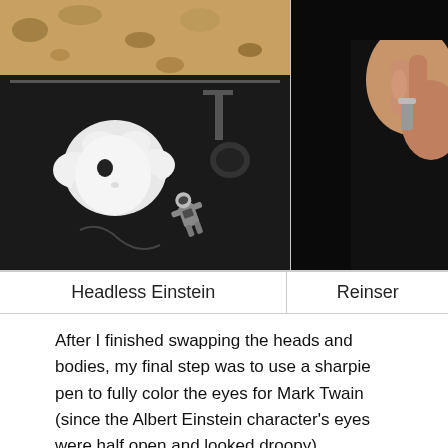[Figure (photo): Photo of a white detached Einstein figurine head with fluffy white hair sitting on a dark kitchen counter/sink area, with a small grey astronaut figurine lying nearby. Granite countertop visible in background.]
[Figure (photo): Partially visible photo (cropped on right edge) showing a person's hand or fingers against a dark background, appearing to reinserting something.]
Headless Einstein
Reinser
After I finished swapping the heads and bodies, my final step was to use a sharpie pen to fully color the eyes for Mark Twain (since the Albert Einstein character's eyes were half open and looked droopy).
[Figure (photo): Bottom portion of a photo showing a person in a black shirt working on something, cropped at bottom of page.]